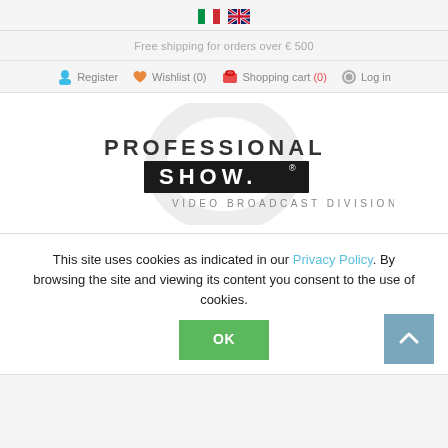🇮🇹 🇬🇧 (language flags)
Free shipping for orders over € 500
Register   Wishlist (0)   Shopping cart (0)   Log in
[Figure (logo): Professional Show - Video Broadcast Division logo with circular graphic element and dark banner]
This site uses cookies as indicated in our Privacy Policy. By browsing the site and viewing its content you consent to the use of cookies. OK